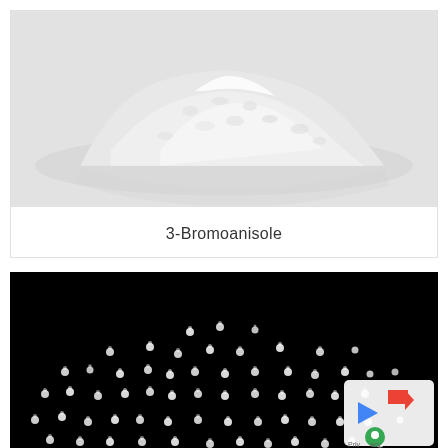[Figure (photo): White powder pile on light grey background with reflection, photograph of 3-Bromoanisole chemical compound]
3-Bromoanisole
[Figure (photo): Dark microscopy or visualization image showing numerous small white glowing spherical particles/molecules on black background, densely clustered]